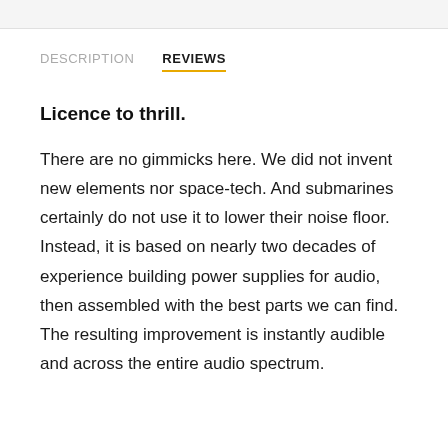DESCRIPTION   REVIEWS
Licence to thrill.
There are no gimmicks here. We did not invent new elements nor space-tech. And submarines certainly do not use it to lower their noise floor. Instead, it is based on nearly two decades of experience building power supplies for audio, then assembled with the best parts we can find. The resulting improvement is instantly audible and across the entire audio spectrum.